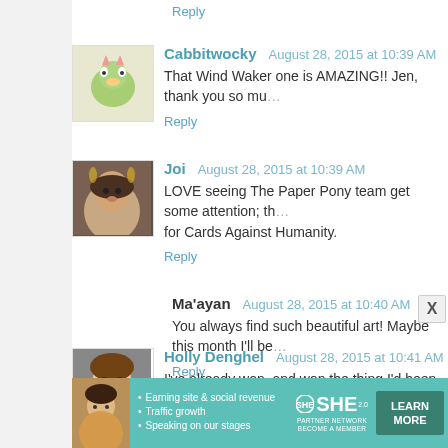Reply
Cabbitwocky  August 28, 2015 at 10:39 AM
That Wind Waker one is AMAZING!! Jen, thank you so mu...
Reply
Joi  August 28, 2015 at 10:39 AM
LOVE seeing The Paper Pony team get some attention; th... for Cards Against Humanity.
Reply
Ma'ayan  August 28, 2015 at 10:40 AM
You always find such beautiful art! Maybe this month I'll be...
Reply
Holly Denghel  August 28, 2015 at 10:41 AM
I've already won, and won the thing I'd been lusting a...
say that the Inked Balle is awesome and John needs...
[Figure (infographic): SHE Partner Network advertisement banner with photo of woman, bullet points: Earning site & social revenue, Traffic growth, Speaking on our stages. SHE PARTNER NETWORK BECOME A MEMBER logo and LEARN MORE button.]